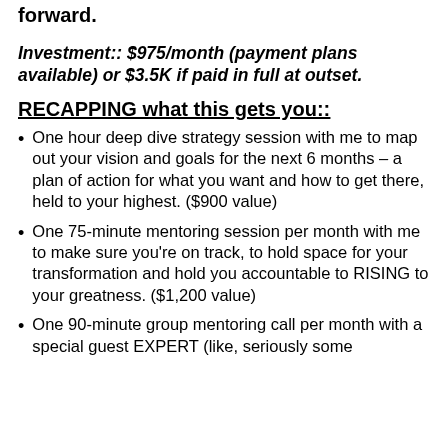forward.
Investment:: $975/month (payment plans available) or $3.5K if paid in full at outset.
RECAPPING what this gets you::
One hour deep dive strategy session with me to map out your vision and goals for the next 6 months – a plan of action for what you want and how to get there, held to your highest. ($900 value)
One 75-minute mentoring session per month with me to make sure you're on track, to hold space for your transformation and hold you accountable to RISING to your greatness. ($1,200 value)
One 90-minute group mentoring call per month with a special guest EXPERT (like, seriously some